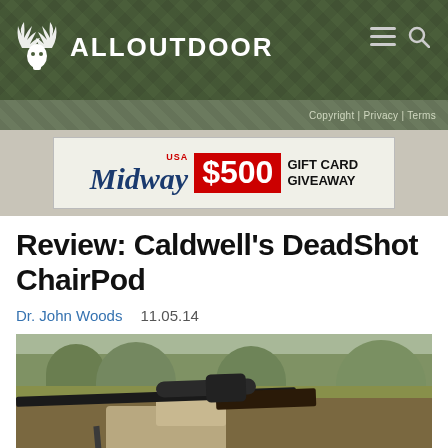ALLOUTDOOR
Copyright | Privacy | Terms
[Figure (other): MidwayUSA $500 Gift Card Giveaway advertisement banner]
Review: Caldwell’s DeadShot ChairPod
Dr. John Woods   11.05.14
[Figure (photo): A bolt-action rifle with scope resting on a Caldwell shooting rest/chair pod, on a dirt surface with grass and brush in the background]